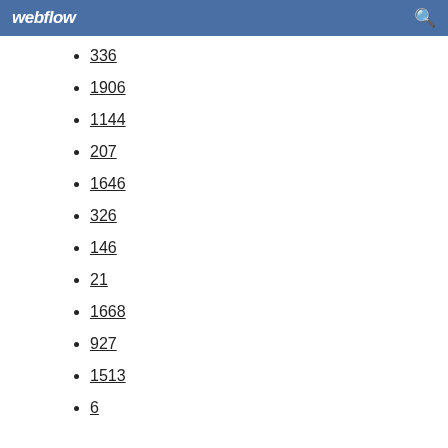webflow
336
1906
1144
207
1646
326
146
21
1668
927
1513
6